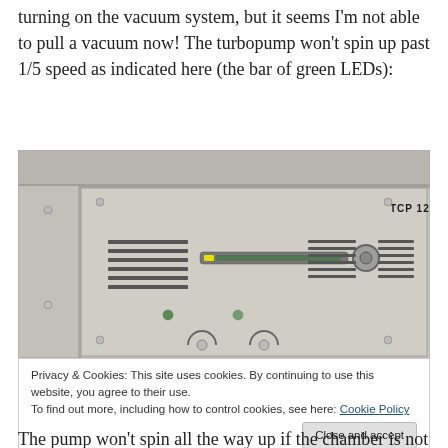turning on the vacuum system, but it seems I'm not able to pull a vacuum now! The turbopump won't spin up past 1/5 speed as indicated here (the bar of green LEDs):
[Figure (photo): Photo of a turbopump controller unit (TCP 121) showing the front panel with a bar of green LEDs lit at approximately 1/5 of full length, with ventilation grilles and control buttons visible.]
Privacy & Cookies: This site uses cookies. By continuing to use this website, you agree to their use.
To find out more, including how to control cookies, see here: Cookie Policy
The pump won't spin all the way up if the chamber is not